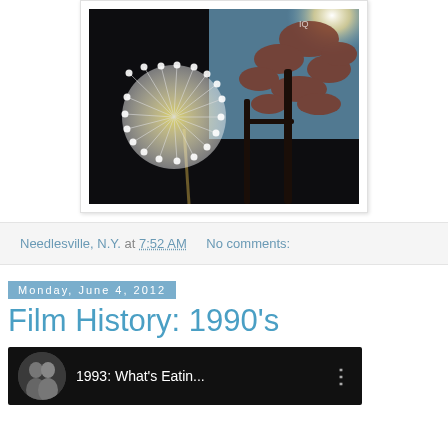[Figure (photo): A photo of a dandelion seed head (white fluffy ball) in the foreground against a dark background, with tree branches and bright sunlight visible in the upper background, mounted in a white polaroid-style frame.]
Needlesville, N.Y. at 7:52 AM    No comments:
Monday, June 4, 2012
Film History: 1990's
[Figure (screenshot): A video thumbnail showing two people and the title text '1993: What's Eatin...' on a dark background with a vertical dots menu icon.]